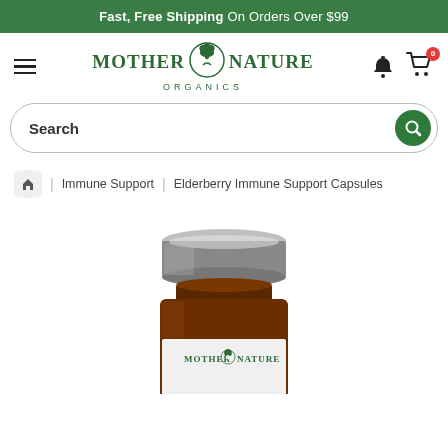Fast, Free Shipping On Orders Over $99
[Figure (logo): Mother Nature Organics logo with leaf/flower emblem between the words MOTHER and NATURE, ORGANICS in smaller text below]
[Figure (screenshot): Search bar with magnifying glass button]
Immune Support | Elderberry Immune Support Capsules
[Figure (photo): Product bottle - amber glass supplement bottle with silver metallic cap, labeled MOTHER NATURE, partially visible, showing top portion of the bottle]